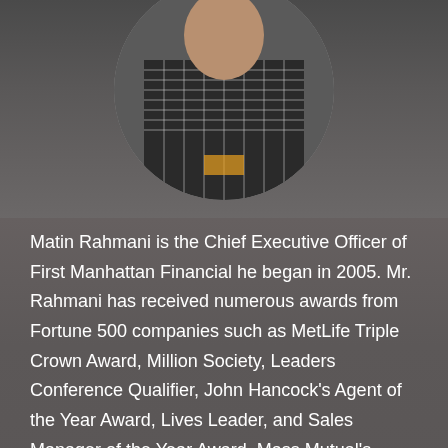[Figure (photo): Circular cropped photo of Matin Rahmani wearing a checkered black and white shirt, photographed against a dark grey blurred background.]
Matin Rahmani is the Chief Executive Officer of First Manhattan Financial he began in 2005. Mr. Rahmani has received numerous awards from Fortune 500 companies such as MetLife Triple Crown Award, Million Society, Leaders Conference Qualifier, John Hancock's Agent of the Year Award, Lives Leader, and Sales Manager of the Year Award, Mass Mutual's Sales Manager of the Year award and numerous Sales Manager Summit Qualifications. Additionally, Mr. Rahmani has served as a Panelist at the Breaker's Resort at the Mass Mutual's Sales Manager Summit and presented nationally to the General Agents and